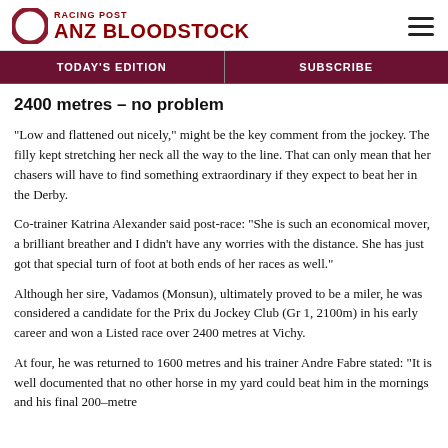RACING POST ANZ BLOODSTOCK
TODAY'S EDITION | SUBSCRIBE
2400 metres – no problem
“Low and flattened out nicely,” might be the key comment from the jockey. The filly kept stretching her neck all the way to the line. That can only mean that her chasers will have to find something extraordinary if they expect to beat her in the Derby.
Co-trainer Katrina Alexander said post-race: “She is such an economical mover, a brilliant breather and I didn’t have any worries with the distance. She has just got that special turn of foot at both ends of her races as well.”
Although her sire, Vadamos (Monsun), ultimately proved to be a miler, he was considered a candidate for the Prix du Jockey Club (Gr 1, 2100m) in his early career and won a Listed race over 2400 metres at Vichy.
At four, he was returned to 1600 metres and his trainer Andre Fabre stated: “It is well documented that no other horse in my yard could beat him in the mornings and his final 200-metre